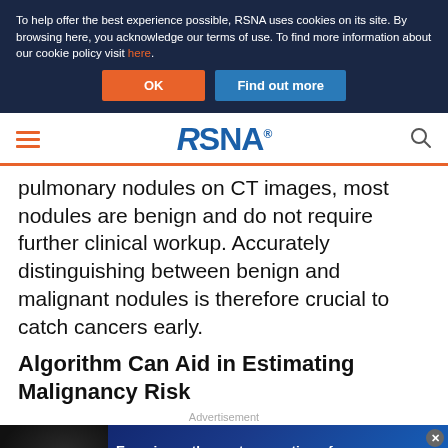To help offer the best experience possible, RSNA uses cookies on its site. By browsing here, you acknowledge our terms of use. To find more information about our cookie policy visit here.
[Figure (screenshot): Cookie consent banner with OK and Find out more buttons on dark navy background]
[Figure (logo): RSNA logo in blue with hamburger menu and search icon]
pulmonary nodules on CT images, most nodules are benign and do not require further clinical workup. Accurately distinguishing between benign and malignant nodules is therefore crucial to catch cancers early.
Algorithm Can Aid in Estimating Malignancy Risk
Advertisement
[Figure (screenshot): Nuance advertisement banner: Experience the next generation of reporting. See demo button.]
Fo... alg...